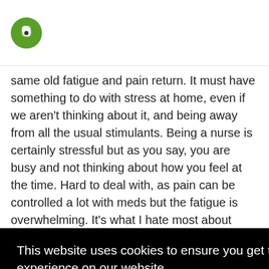same old fatigue and pain return. It must have something to do with stress at home, even if we aren't thinking about it, and being away from all the usual stimulants. Being a nurse is certainly stressful but as you say, you are busy and not thinking about how you feel at the time. Hard to deal with, as pain can be controlled a lot with meds but the fatigue is overwhelming. It's what I hate most about Fibro....that and fibro fog. If anyone has any good suggestions on dealing with fatigue, please let us know :))
This website uses cookies to ensure you get the best experience on our website. Learn more
Got it!
But line those with physically demanding pushed daily